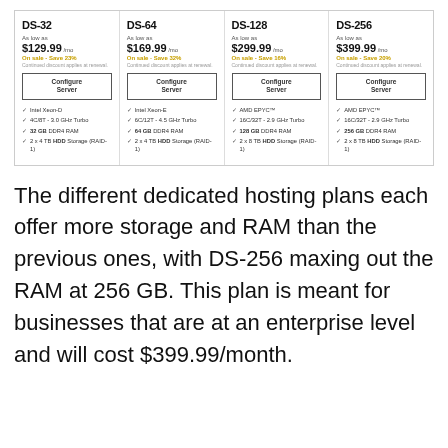[Figure (screenshot): Pricing comparison table for four dedicated hosting plans: DS-32 ($129.99/mo, Save 23%), DS-64 ($169.99/mo, Save 32%), DS-128 ($299.99/mo, Save 16%), DS-256 ($399.99/mo, Save 20%). Each plan has a Configure Server button and lists specs including CPU, cores/threads, GHz, RAM, and HDD storage.]
The different dedicated hosting plans each offer more storage and RAM than the previous ones, with DS-256 maxing out the RAM at 256 GB. This plan is meant for businesses that are at an enterprise level and will cost $399.99/month.